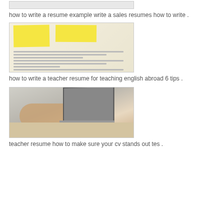[Figure (photo): Partial view of a resume or document, cropped at top]
how to write a resume example write a sales resumes how to write .
[Figure (photo): A resume document with yellow sticky notes attached on top]
how to write a teacher resume for teaching english abroad 6 tips .
[Figure (photo): Person's hands typing on a laptop keyboard at a desk]
teacher resume how to make sure your cv stands out tes .